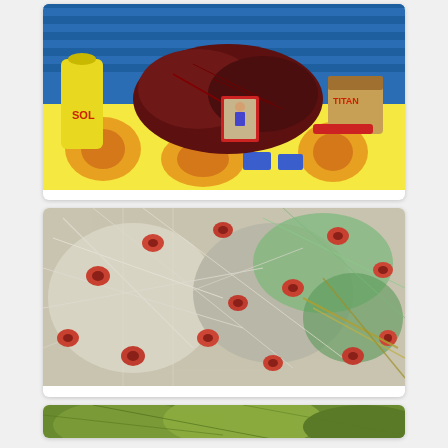[Figure (photo): A tableau in a fishing shack on the Island of Santorini — items including a yellow Sol detergent bottle, dark red dried plants/nets, a small religious icon in a red frame, and a Titan paint tin, arranged on a floral tablecloth with a blue corrugated metal background.]
A tableau in a fishing shack on the Island of Santorini
[Figure (photo): Fishing nets tangled and piled, showing white/grey netting with red and orange floats scattered throughout, and patches of green netting, photographed in Parikia on the Island of Paros.]
Nets in Parikia on the Island of Paros
[Figure (photo): Partial view of another scene, partially cropped at bottom of page, showing green and yellow-green organic material.]